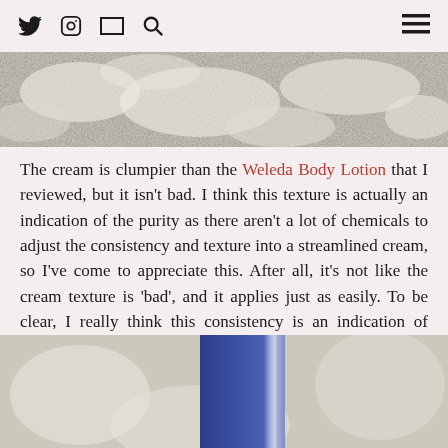Twitter Instagram Email Search [hamburger menu]
[Figure (photo): Top portion of a cream/white textured background photo, partially cropped at the top of the page]
The cream is clumpier than the Weleda Body Lotion that I reviewed, but it isn't bad. I think this texture is actually an indication of the purity as there aren't a lot of chemicals to adjust the consistency and texture into a streamlined cream, so I've come to appreciate this. After all, it's not like the cream texture is 'bad', and it applies just as easily. To be clear, I really think this consistency is an indication of quality and a standard of purity, so it's actually a good thing that in no way hinders application of the product, it is just one of those things that people who are accustomed to more filtered products will need to realize.
[Figure (photo): Bottom portion showing a blue cylindrical product container against a white/cream textured background]